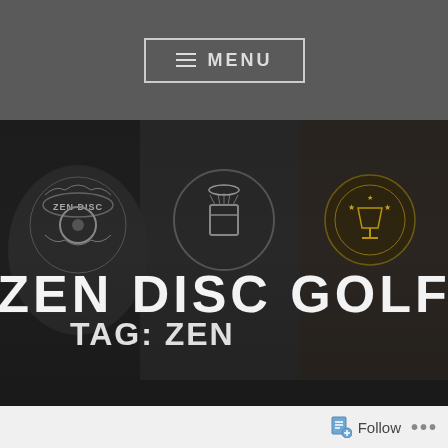≡ MENU
[Figure (photo): Hero banner showing three disc golf t-shirts on models, with bold white distressed text overlay reading ZEN DISC GOLF]
ZEN DISC GOLF
TAG: ZEN
Follow ...